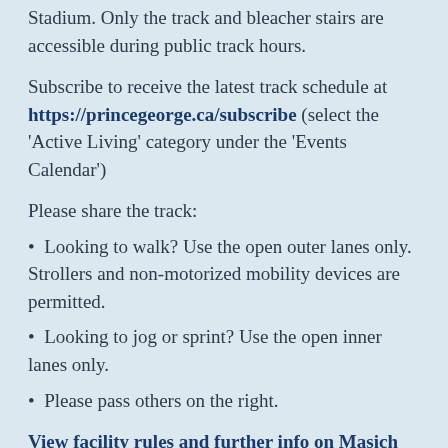Stadium. Only the track and bleacher stairs are accessible during public track hours.
Subscribe to receive the latest track schedule at https://princegeorge.ca/subscribe (select the ‘Active Living’ category under the ‘Events Calendar’)
Please share the track:
Looking to walk? Use the open outer lanes only. Strollers and non-motorized mobility devices are permitted.
Looking to jog or sprint? Use the open inner lanes only.
Please pass others on the right.
View facility rules and further info on Masich Place Stadium.